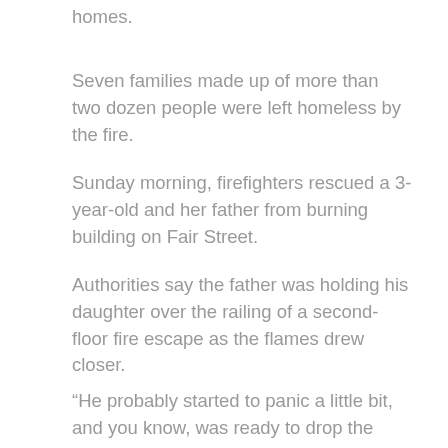homes.
Seven families made up of more than two dozen people were left homeless by the fire.
Sunday morning, firefighters rescued a 3-year-old and her father from burning building on Fair Street.
Authorities say the father was holding his daughter over the railing of a second-floor fire escape as the flames drew closer.
“He probably started to panic a little bit, and you know, was ready to drop the daughter,” firefighter Robert Santore said. “We came and I told him ‘No, no, don’t do anything, I’m coming up.’ I proceeded to go up the ladder of the fire escape, he handed the